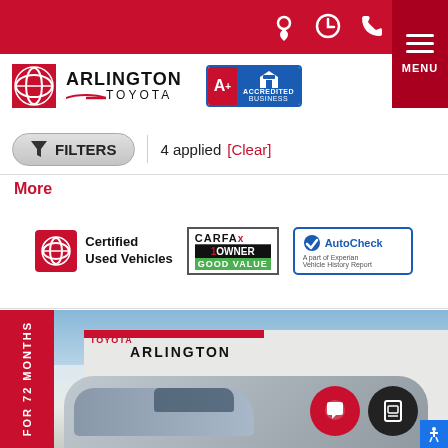Arlington Toyota website header with navigation icons and MENU button
[Figure (logo): Arlington Toyota logo with Toyota circular emblem, 'ARLINGTON TOYOTA' text, and BBB A+ Accredited Business badge]
FILTERS | 4 applied [Clear]
More
[Figure (logo): Toyota Certified Used Vehicles badge, CARFAX 1 Owner Good Value badge, AutoCheck Vehicle History Report badge]
[Figure (photo): Toyota RAV4 SUV parked in front of Arlington Toyota dealership. Red side banner reads: FOR 72 MONTHS]